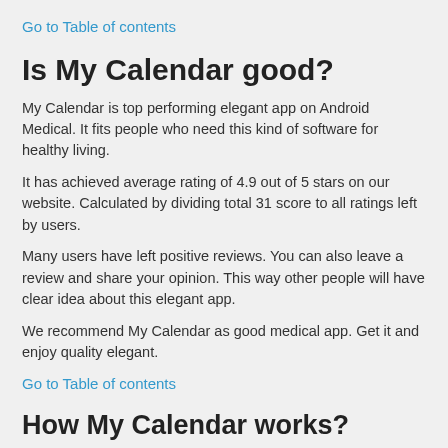Go to Table of contents
Is My Calendar good?
My Calendar is top performing elegant app on Android Medical. It fits people who need this kind of software for healthy living.
It has achieved average rating of 4.9 out of 5 stars on our website. Calculated by dividing total 31 score to all ratings left by users.
Many users have left positive reviews. You can also leave a review and share your opinion. This way other people will have clear idea about this elegant app.
We recommend My Calendar as good medical app. Get it and enjoy quality elegant.
Go to Table of contents
How My Calendar works?